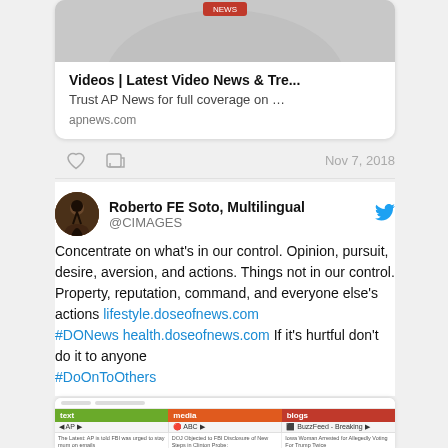[Figure (screenshot): AP News video card with gray thumbnail image, title 'Videos | Latest Video News & Tre...', description 'Trust AP News for full coverage on ...', and URL 'apnews.com']
Videos | Latest Video News & Tre...
Trust AP News for full coverage on ...
apnews.com
Nov 7, 2018
Roberto FE Soto, Multilingual @CIMAGES
Concentrate on what’s in our control. Opinion, pursuit, desire, aversion, and actions. Things not in our control. Property, reputation, command, and everyone else’s actions lifestyle.doseofnews.com #DONews health.doseofnews.com If it’s hurtful don’t do it to anyone #DoOnToOthers
[Figure (screenshot): Screenshot of a news aggregator interface showing three columns labeled 'text', 'media', and 'blogs' with AP, ABC, and BuzzFeed - Breaking sub-items and small text rows below]